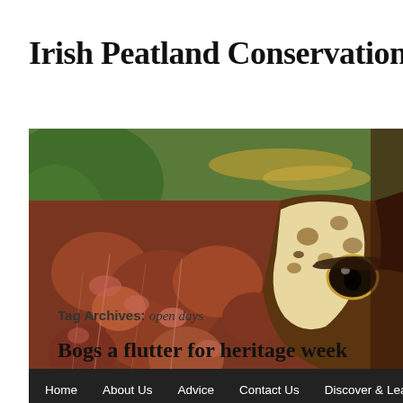Irish Peatland Conservation C
[Figure (photo): Close-up macro photograph of a frog resting on reddish-brown sphagnum moss or peat vegetation. The frog's eye is prominently visible on the right side, with mottled brown and cream coloring. The background shows blurred green foliage.]
Home  About Us  Advice  Contact Us  Discover & Learn  He
Tag Archives: open days
Bogs a flutter for heritage week